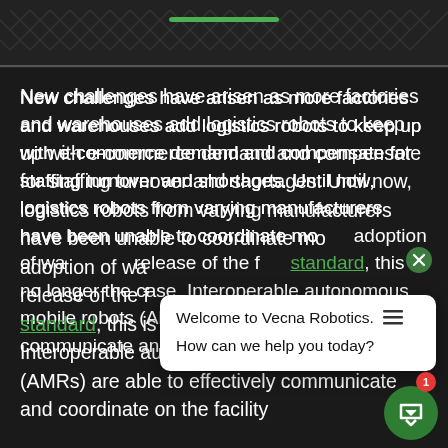Vecna Robotics header with green bar and geometric pattern
New challenges have arisen as more factories and warehouses add logistics robots to keep up with e-commerce demand and compensate for staffing turnover and shortages. Until now, logistics robots from varying manufacturers have been unable to coordinate mo[vement, hindering widespread] adoption of wa[rehouse automation. With the] release of the f[irst interoperable] standard, this is no longer the case. Interoperable autonomous mobile robots (AMRs) are able to effectively communicate and coordinate on the facility
[Figure (screenshot): Chat popup overlay from Vecna Robotics website with welcome message and help prompt. Shows 'Welcome to Vecna Robotics.' with hamburger menu icon and 'How can we help you today?' text. White popup with close X button and green chat bubble icon with red notification badge showing 1.]